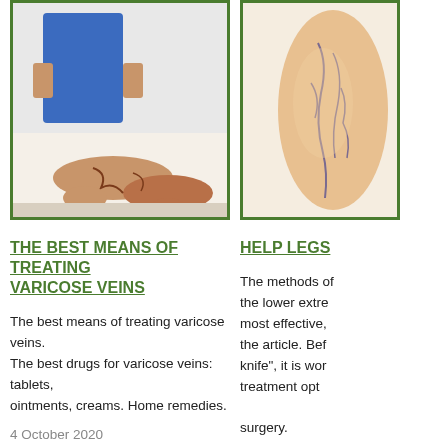[Figure (photo): Photo of patient's legs showing varicose veins, person in blue shirt standing behind]
[Figure (photo): Photo of a leg showing varicose veins markings, partially cropped]
THE BEST MEANS OF TREATING VARICOSE VEINS
HELP LEGS
The best means of treating varicose veins. The best drugs for varicose veins: tablets, ointments, creams. Home remedies.
The methods of treating the lower extremities, most effective, listed in the article. Before going under the knife", it is worth knowing the treatment options without surgery.
4 October 2020
13 October 20